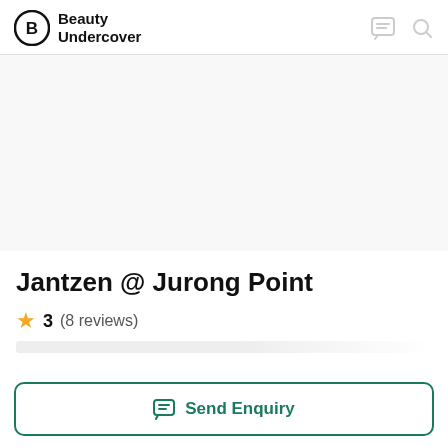Beauty Undercover
Jantzen @ Jurong Point
3 (8 reviews)
Send Enquiry